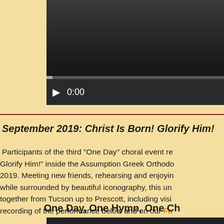[Figure (screenshot): Video player with dark background, play button, 0:00 timestamp, and progress bar]
September 2019: Christ Is Born! Glorify Him!
Participants of the third "One Day" choral event recorded "Christ Is Born! Glorify Him!" inside the Assumption Greek Orthodox Church in September 2019. Meeting new friends, rehearsing and enjoying the liturgical music while surrounded by beautiful iconography, this unique experience brought singers together from Tucson up to Prescott, including visiting friends. Watch the recording of the performance below and on our Facebook page.
One Day, One Hymn, One Ch...